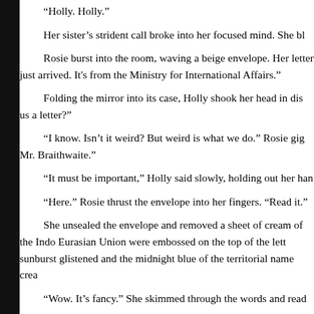“Holly. Holly.”
Her sister’s strident call broke into her focused mind. She bl…
Rosie burst into the room, waving a beige envelope. Her… letter just arrived. It's from the Ministry for International Affairs.”
Folding the mirror into its case, Holly shook her head in dis… us a letter?”
“I know. Isn’t it weird? But weird is what we do.” Rosie gig… Mr. Braithwaite.”
“It must be important,” Holly said slowly, holding out her han…
“Here.” Rosie thrust the envelope into her fingers. “Read it.”
She unsealed the envelope and removed a sheet of cream… of the Indo Eurasian Union were embossed on the top of the lett… sunburst glistened and the midnight blue of the territorial name crea…
“Wow. It’s fancy.” She skimmed through the words and read…
“Dear Misses Holly and Rosyline Moon,
You are invited to an interview at our Regional Office to und…